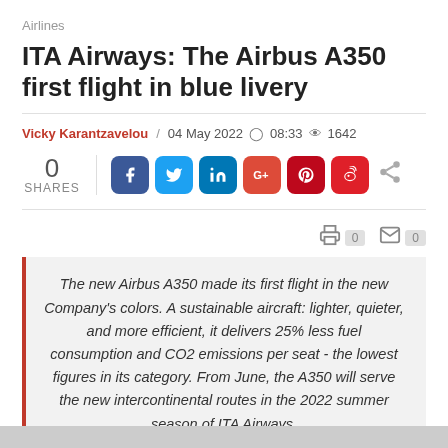Airlines
ITA Airways: The Airbus A350 first flight in blue livery
Vicky Karantzavelou / 04 May 2022 ⊙ 08:33 👁 1642
0 SHARES
The new Airbus A350 made its first flight in the new Company's colors. A sustainable aircraft: lighter, quieter, and more efficient, it delivers 25% less fuel consumption and CO2 emissions per seat - the lowest figures in its category. From June, the A350 will serve the new intercontinental routes in the 2022 summer season of ITA Airways.